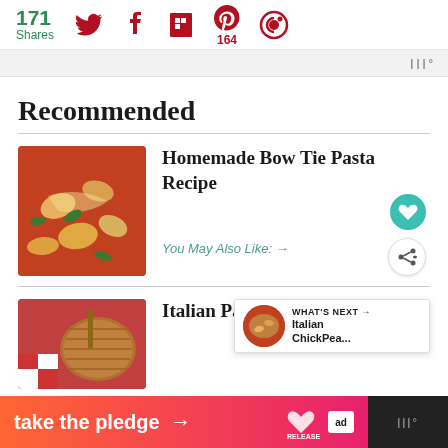171 Shares | Twitter | Facebook | Flipboard | Pinterest 164 | Share
[Figure (screenshot): Ad bar with Mediavine logo]
Recommended
[Figure (photo): Homemade Bow Tie Pasta thumbnail - pasta with tomato sauce and basil]
Homemade Bow Tie Pasta Recipe
You May Also Like: →
[Figure (photo): Italian Pasta Ceci thumbnail - pasta in a basket with checkered cloth]
Italian Pasta Ceci
[Figure (screenshot): WHAT'S NEXT popup showing Italian ChickPea... with circular thumbnail]
take the pledge → RELEASE | ad | Mediavine